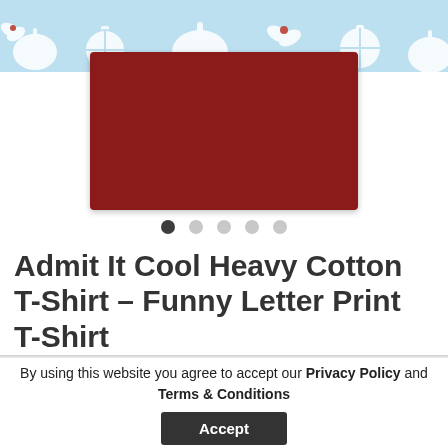[Figure (illustration): Light blue Christmas banner with white silhouette patterns of bells, ornaments, and holly leaves]
[Figure (photo): Product image showing a dark red/maroon folded heavy cotton t-shirt against white background]
[Figure (other): Carousel navigation dots — 5 dots with first one dark/active and remaining four light gray]
Admit It Cool Heavy Cotton T-Shirt – Funny Letter Print T-Shirt
By using this website you agree to accept our Privacy Policy and Terms & Conditions
Accept